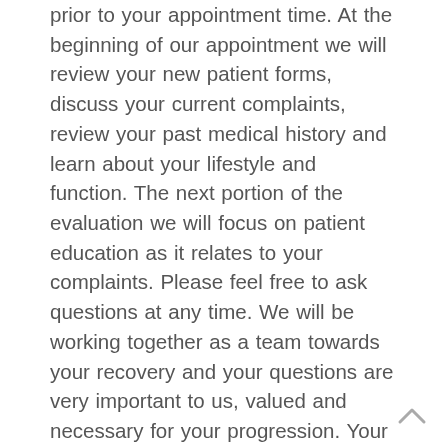prior to your appointment time. At the beginning of our appointment we will review your new patient forms, discuss your current complaints, review your past medical history and learn about your lifestyle and function. The next portion of the evaluation we will focus on patient education as it relates to your complaints. Please feel free to ask questions at any time. We will be working together as a team towards your recovery and your questions are very important to us, valued and necessary for your progression. Your evaluation will follow with a complete assessment of posture, range of motion, flexibility, strength, joint mobility, soft tissue, myofascial restrictions, special tests, functional mobility, sensation and reflexes. You can wear comfortable clothes and